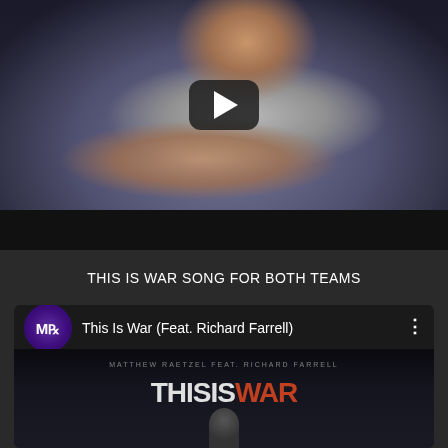[Figure (screenshot): YouTube video thumbnail showing an elderly man examining rings, with a dark play button overlay. The video has a dark bottom bar.]
THIS IS WAR SONG FOR BOTH TEAMS
[Figure (screenshot): YouTube embedded video card for 'This Is War (Feat. Richard Farrell)' by Matthew Raetzel, showing the channel logo (MR monogram in purple circle), video title, three-dot menu, and thumbnail with 'THIS IS WAR' text over dark background with silhouetted figure.]